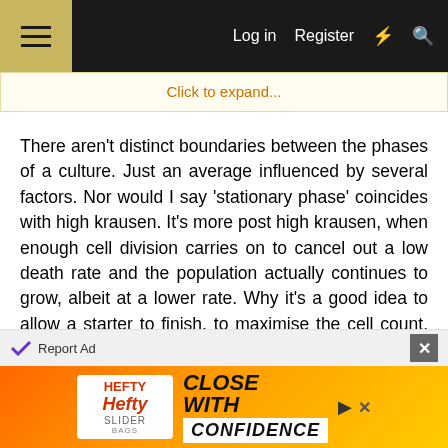☰  Log in  Register  ⚡  🔍
Click to expand...
There aren't distinct boundaries between the phases of a culture. Just an average influenced by several factors. Nor would I say 'stationary phase' coincides with high krausen. It's more post high krausen, when enough cell division carries on to cancel out a low death rate and the population actually continues to grow, albeit at a lower rate. Why it's a good idea to allow a starter to finish, to maximise the cell count. And, again, it promotes remodelling of behaviour resulting in accumulation of storage carbohydrates to survive the most common natural state, dormancy. Even at room temperature the death rate is very low for at least a few days post stationary phase. The
[Figure (other): Hefty Slider Bags advertisement banner with orange/yellow gradient background. Shows Hefty brand logo and text 'CLOSE WITH CONFIDENCE'.]